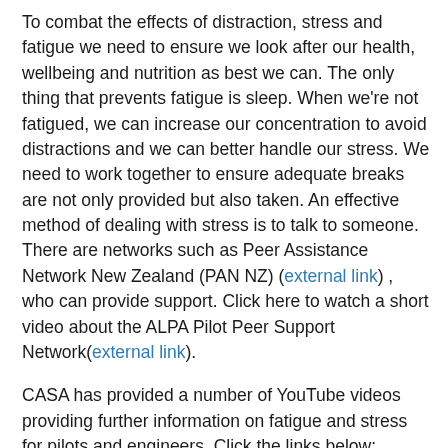To combat the effects of distraction, stress and fatigue we need to ensure we look after our health, wellbeing and nutrition as best we can. The only thing that prevents fatigue is sleep. When we're not fatigued, we can increase our concentration to avoid distractions and we can better handle our stress. We need to work together to ensure adequate breaks are not only provided but also taken. An effective method of dealing with stress is to talk to someone. There are networks such as Peer Assistance Network New Zealand (PAN NZ) (external link) , who can provide support. Click here to watch a short video about the ALPA Pilot Peer Support Network(external link).
CASA has provided a number of YouTube videos providing further information on fatigue and stress for pilots and engineers. Click the links below: